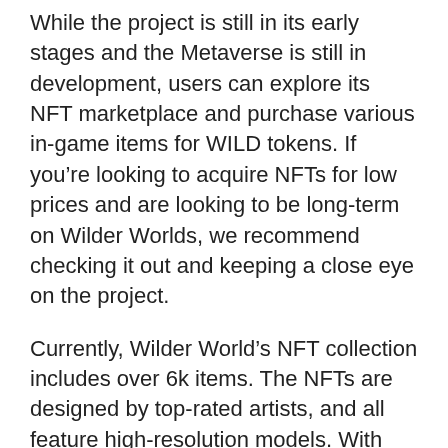While the project is still in its early stages and the Metaverse is still in development, users can explore its NFT marketplace and purchase various in-game items for WILD tokens. If you're looking to acquire NFTs for low prices and are looking to be long-term on Wilder Worlds, we recommend checking it out and keeping a close eye on the project.
Currently, Wilder World's NFT collection includes over 6k items. The NFTs are designed by top-rated artists, and all feature high-resolution models. With the current market cap of $17 million, Wilder World is on a fire sale, and its NFTs are selling for incredibly low prices.
To stay up to date with the latest Wilder World news and join one of the most robust Metaverse communities in crypto, consider joining the official Wilder World discord.